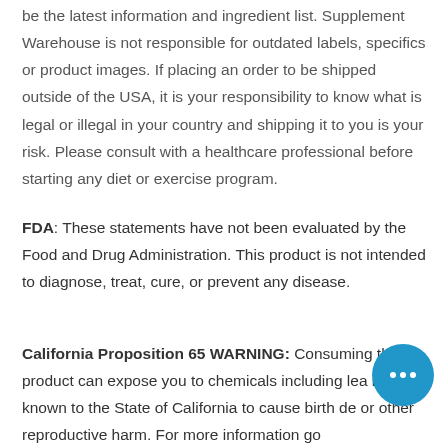be the latest information and ingredient list. Supplement Warehouse is not responsible for outdated labels, specifics or product images. If placing an order to be shipped outside of the USA, it is your responsibility to know what is legal or illegal in your country and shipping it to you is your risk. Please consult with a healthcare professional before starting any diet or exercise program.
FDA: These statements have not been evaluated by the Food and Drug Administration. This product is not intended to diagnose, treat, cure, or prevent any disease.
California Proposition 65 WARNING: Consuming this product can expose you to chemicals including lead, which is known to the State of California to cause birth defects or other reproductive harm. For more information go